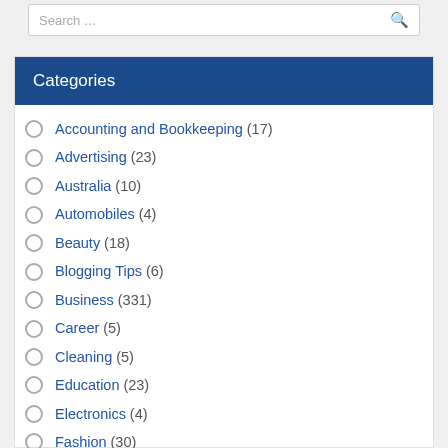Accounting and Bookkeeping (17)
Advertising (23)
Australia (10)
Automobiles (4)
Beauty (18)
Blogging Tips (6)
Business (331)
Career (5)
Cleaning (5)
Education (23)
Electronics (4)
Fashion (30)
Finance (20)
Food & Drink (14)
Furniture (3)